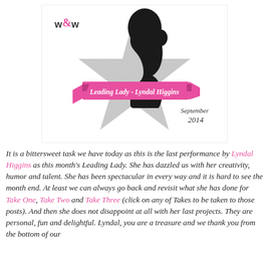[Figure (illustration): A decorative badge/logo showing a black silhouette of a woman's profile against a silver glitter star shape. In the top left is 'w&w' text with a pink ampersand. A pink ribbon banner across the middle reads 'Leading Lady - Lyndal Higgins' in script. Below the ribbon in script text it reads 'September 2014'.]
It is a bittersweet task we have today as this is the last performance by Lyndal Higgins as this month's Leading Lady.  She has dazzled us with her creativity, humor and talent.  She has been spectacular in every way and it is hard to see the month end.  At least we can always go back and revisit what she has done for Take One, Take Two and Take Three (click on any of Takes to be taken to those posts).  And then she does not disappoint at all with her last projects.  They are personal, fun and delightful.  Lyndal, you are a treasure and we thank you from the bottom of our